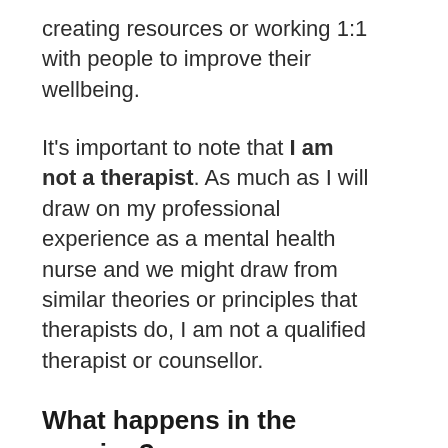creating resources or working 1:1 with people to improve their wellbeing.
It’s important to note that I am not a therapist. As much as I will draw on my professional experience as a mental health nurse and we might draw from similar theories or principles that therapists do, I am not a qualified therapist or counsellor.
What happens in the session?